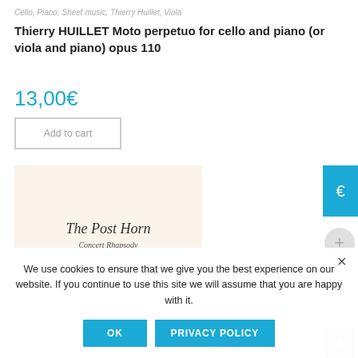Cello, Piano, Sheet music, Thierry Huillet, Viola
Thierry HUILLET Moto perpetuo for cello and piano (or viola and piano) opus 110
13,00€
Add to cart
[Figure (illustration): Sheet music cover page with cursive text reading 'The Post Horn', 'Concert Rhapsody', 'Tribute to Eugène Dunel', 'op. 76', 'for violin & piano' on a cream background]
We use cookies to ensure that we give you the best experience on our website. If you continue to use this site we will assume that you are happy with it.
OK
PRIVACY POLICY